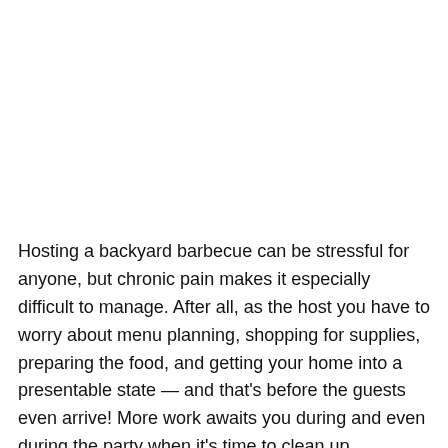Hosting a backyard barbecue can be stressful for anyone, but chronic pain makes it especially difficult to manage. After all, as the host you have to worry about menu planning, shopping for supplies, preparing the food, and getting your home into a presentable state — and that's before the guests even arrive! More work awaits you during and even during the party when it's time to clean up.
Fortunately, there are ways to make hosting a more pleasant